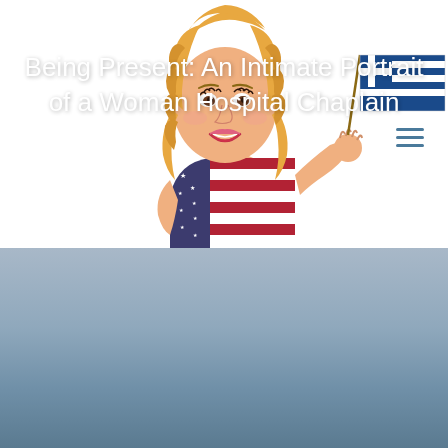[Figure (illustration): Cartoon illustration of a blonde woman wearing an American flag dress, holding a Greek flag in her raised right hand. The woman has curly blonde hair, red lips, and is smiling. She wears a strapless dress styled after the US flag with stars on the left chest and red/white stripes. The Greek flag is blue and white with a white cross in the upper left corner.]
[Figure (other): Hamburger menu icon (three horizontal lines) in dark steel blue color, positioned in the upper right area of the white header section.]
[Figure (photo): Background photo of an overcast sky with muted blue-grey tones, possibly showing a coastal or mountainous horizon at the very bottom.]
Being Present: An Intimate Portrait of a Woman Hospital Chaplain